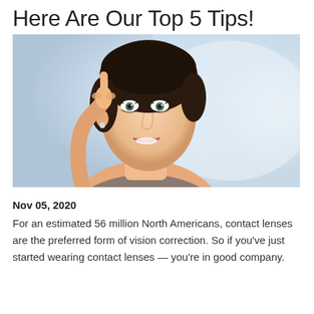Here Are Our Top 5 Tips!
[Figure (photo): A smiling woman holding up one finger near her eye, suggesting contact lens insertion, with a blurred light blue background.]
Nov 05, 2020
For an estimated 56 million North Americans, contact lenses are the preferred form of vision correction. So if you've just started wearing contact lenses — you're in good company.